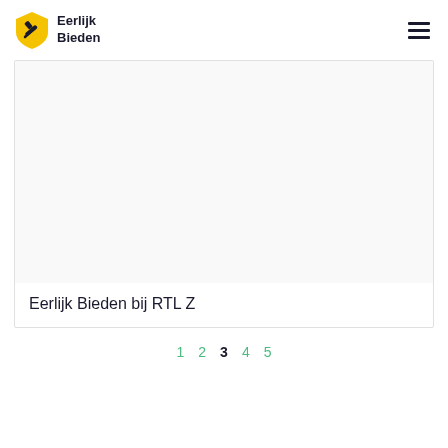[Figure (logo): Eerlijk Bieden logo: yellow shield icon with hammer/gavel, next to bold text 'Eerlijk Bieden' in two lines]
[Figure (other): Hamburger menu icon (three horizontal lines) in top right corner]
[Figure (photo): Large white/blank image area within a card — appears to be a video thumbnail or image placeholder]
Eerlijk Bieden bij RTL Z
1  2  3  4  5